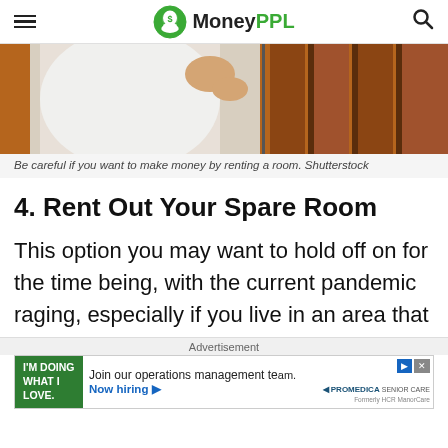MoneyPPL — navigation bar with hamburger menu and search icon
[Figure (photo): Person in white shirt touching or adjusting wooden paneled wall/door — photo partially cropped at top]
Be careful if you want to make money by renting a room. Shutterstock
4. Rent Out Your Spare Room
This option you may want to hold off on for the time being, with the current pandemic raging, especially if you live in an area that
Advertisement
[Figure (other): Advertisement banner: Green left panel reading I'M DOING WHAT I LOVE., main text: Join our operations management team. Now hiring ▶, ProMedica Senior Care logo on the right, with close/skip buttons.]